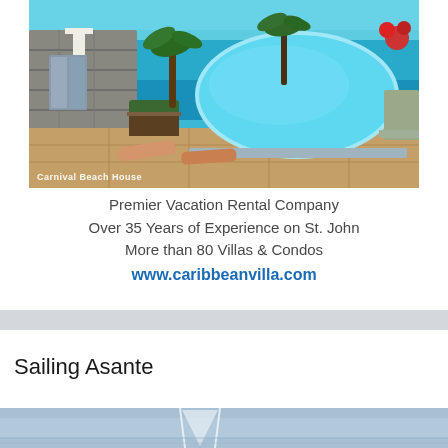[Figure (photo): Aerial view of Carnival Beach House with swimming pool overlooking turquoise Caribbean ocean, stone patio with lounge chairs and palm trees]
Premier Vacation Rental Company
Over 35 Years of Experience on St. John
More than 80 Villas & Condos
www.caribbeanvilla.com
Sailing Asante
[Figure (photo): Partial view of sailing boat on water, bottom of page]